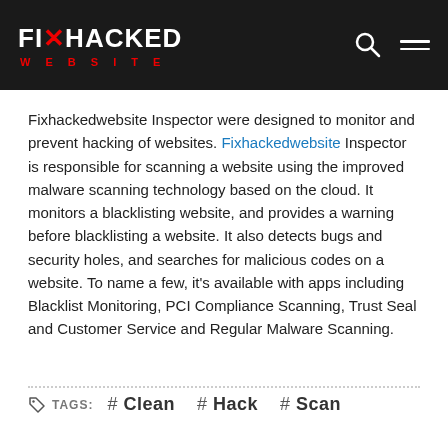[Figure (logo): Fix Hacked Website logo — white text on black background, red X and red 'WEBSITE' subtitle]
Fixhackedwebsite Inspector were designed to monitor and prevent hacking of websites. Fixhackedwebsite Inspector is responsible for scanning a website using the improved malware scanning technology based on the cloud. It monitors a blacklisting website, and provides a warning before blacklisting a website. It also detects bugs and security holes, and searches for malicious codes on a website. To name a few, it's available with apps including Blacklist Monitoring, PCI Compliance Scanning, Trust Seal and Customer Service and Regular Malware Scanning.
TAGS: #Clean #Hack #Scan